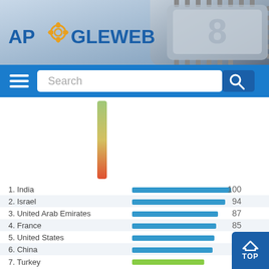[Figure (logo): ApogleWeb logo with gear icon, on a blue-gray chip background header banner]
[Figure (screenshot): Blue navigation bar with hamburger menu and Search input field with magnifying glass icon]
[Figure (other): Vertical color scale bar from green (top) to red (bottom) with label Low]
[Figure (bar-chart): Country rankings]